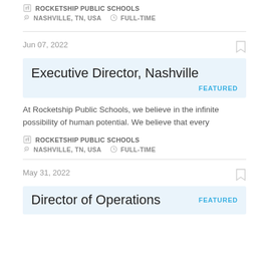ROCKETSHIP PUBLIC SCHOOLS
NASHVILLE, TN, USA   FULL-TIME
Jun 07, 2022
Executive Director, Nashville
FEATURED
At Rocketship Public Schools, we believe in the infinite possibility of human potential. We believe that every
ROCKETSHIP PUBLIC SCHOOLS
NASHVILLE, TN, USA   FULL-TIME
May 31, 2022
Director of Operations
FEATURED